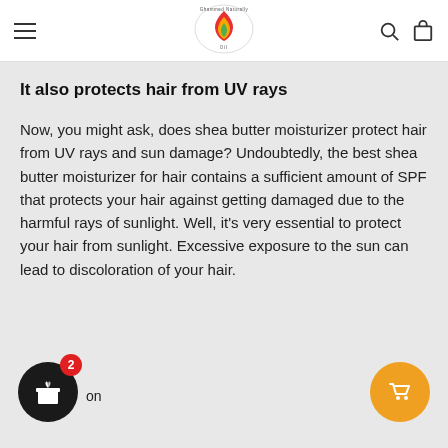[Figure (logo): Ghammed Naturally Oil brand logo with a flame/leaf graphic in red, yellow and green, circular badge style]
It also protects hair from UV rays
Now, you might ask, does shea butter moisturizer protect hair from UV rays and sun damage? Undoubtedly, the best shea butter moisturizer for hair contains a sufficient amount of SPF that protects your hair against getting damaged due to the harmful rays of sunlight. Well, it's very essential to protect your hair from sunlight. Excessive exposure to the sun can lead to discoloration of your hair.